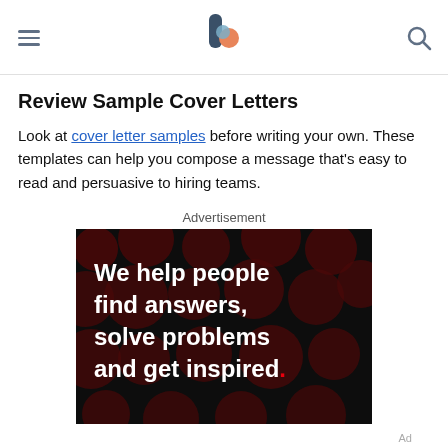[hamburger menu] [logo] [search icon]
Review Sample Cover Letters
Look at cover letter samples before writing your own. These templates can help you compose a message that’s easy to read and persuasive to hiring teams.
Advertisement
[Figure (photo): Advertisement image with dark background and dark red polka dot circles. White bold text reads: 'We help people find answers, solve problems and get inspired.' with a red period at the end.]
Ad